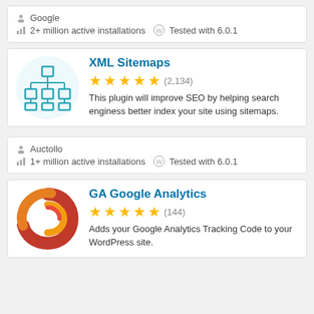Google
2+ million active installations  Tested with 6.0.1
XML Sitemaps
★★★★★ (2,134)
This plugin will improve SEO by helping search enginess better index your site using sitemaps.
Auctollo
1+ million active installations  Tested with 6.0.1
GA Google Analytics
★★★★★ (144)
Adds your Google Analytics Tracking Code to your WordPress site.